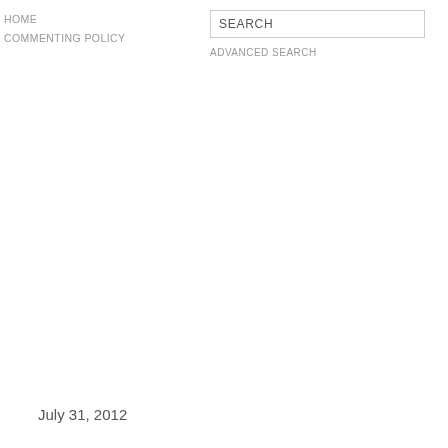HOME
COMMENTING POLICY
SEARCH
ADVANCED SEARCH
July 31, 2012